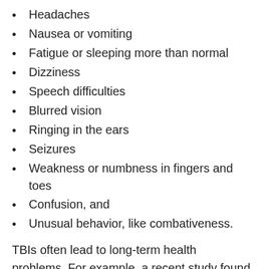Headaches
Nausea or vomiting
Fatigue or sleeping more than normal
Dizziness
Speech difficulties
Blurred vision
Ringing in the ears
Seizures
Weakness or numbness in fingers and toes
Confusion, and
Unusual behavior, like combativeness.
TBIs often lead to long-term health problems. For example, a recent study found that a severe brain injury increases the risk of developing dementia by 35%, while a mild brain injury increases the risk by 17%. Such long-term consequences are one factor